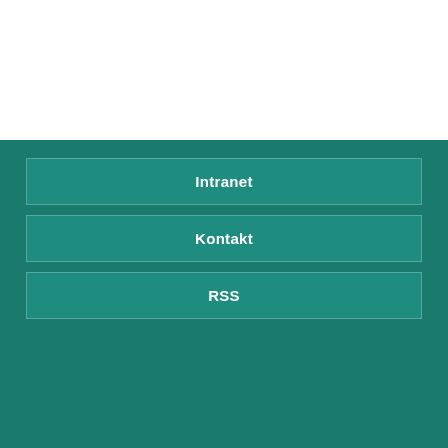Intranet
Kontakt
RSS
[Figure (logo): Max-Planck-Gesellschaft circular medallion logo with a profile portrait]
Max-Planck-Gesellschaft
Impressum
Datenschutzhinweis
© 2022, Max-Planck-Gesellschaft